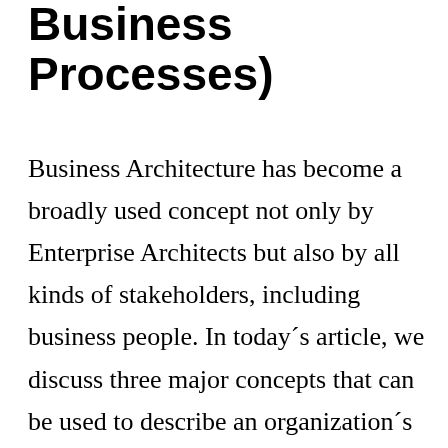Business Processes)
Business Architecture has become a broadly used concept not only by Enterprise Architects but also by all kinds of stakeholders, including business people. In today´s article, we discuss three major concepts that can be used to describe an organization´s business architecture. How to Model your Business Architecture? In an Enterprise Architecture model, business